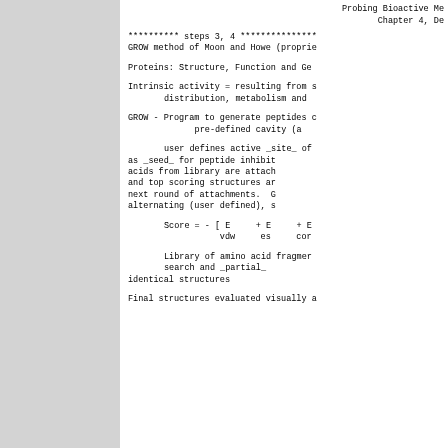Probing Bioactive Me...
Chapter 4, De...
********** steps 3, 4 ***************...
GROW method of Moon and Howe (proprie...
Proteins: Structure, Function and Ge...
Intrinsic activity = resulting from s...
     distribution, metabolism and ...
GROW - Program to generate peptides c...
          pre-defined cavity (a...
user defines active _site_ of...
     as _seed_ for peptide inhibit...
     acids from library are attach...
     and top scoring structures ar...
     next round of attachments. G...
     alternating (user defined), s...
Library of amino acid fragmer...
          search and _partial_...
          identical structures ...
Final structures evaluated visually a...